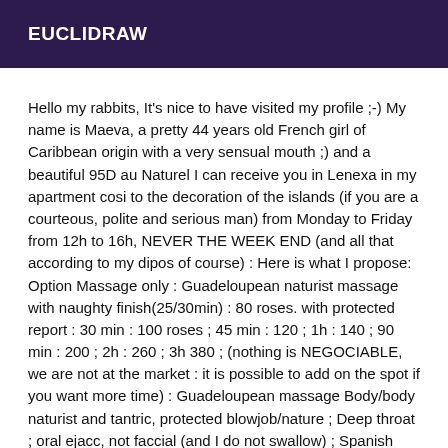EUCLIDRAW
Hello my rabbits, It's nice to have visited my profile ;-) My name is Maeva, a pretty 44 years old French girl of Caribbean origin with a very sensual mouth ;) and a beautiful 95D au Naturel I can receive you in Lenexa in my apartment cosi to the decoration of the islands (if you are a courteous, polite and serious man) from Monday to Friday from 12h to 16h, NEVER THE WEEK END (and all that according to my dipos of course) : Here is what I propose: Option Massage only : Guadeloupean naturist massage with naughty finish(25/30min) : 80 roses. with protected report : 30 min : 100 roses ; 45 min : 120 ; 1h : 140 ; 90 min : 200 ; 2h : 260 ; 3h 380 ; (nothing is NEGOCIABLE, we are not at the market : it is possible to add on the spot if you want more time) : Guadeloupean massage Body/body naturist and tantric, protected blowjob/nature ; Deep throat ; oral ejacc, not faccial (and I do not swallow) ; Spanish handjob ;